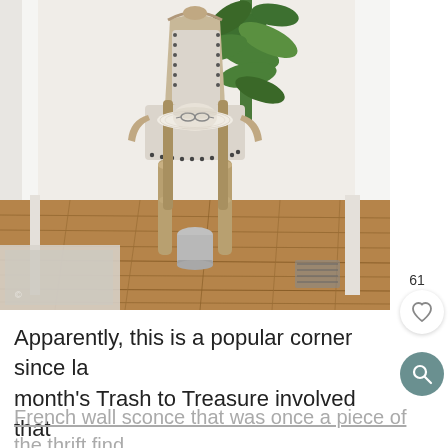[Figure (photo): A French country-style upholstered dining chair with weathered wood frame and nailhead trim, set in a home corner on hardwood floors. A white woven hat and glasses rest on the seat. A green leafy plant is in the background, with white curtains to the sides.]
61
Apparently, this is a popular corner since last month's Trash to Treasure involved that
French wall sconce that was once a piece of the thrift find...